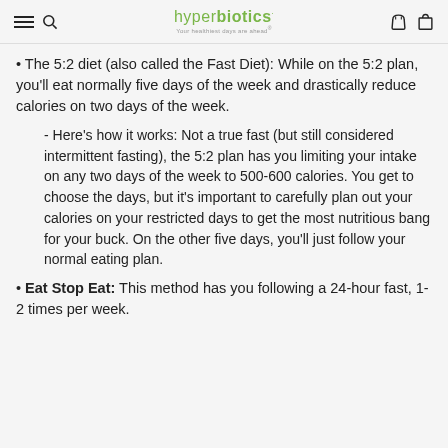hyperbiotics · Your healthiest days are ahead
The 5:2 diet (also called the Fast Diet): While on the 5:2 plan, you'll eat normally five days of the week and drastically reduce calories on two days of the week.
- Here's how it works: Not a true fast (but still considered intermittent fasting), the 5:2 plan has you limiting your intake on any two days of the week to 500-600 calories. You get to choose the days, but it's important to carefully plan out your calories on your restricted days to get the most nutritious bang for your buck. On the other five days, you'll just follow your normal eating plan.
Eat Stop Eat: This method has you following a 24-hour fast, 1-2 times per week.